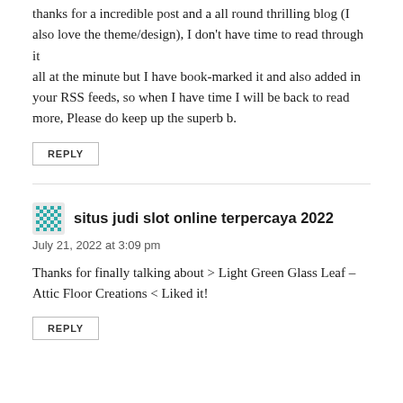thanks for a incredible post and a all round thrilling blog (I also love the theme/design), I don't have time to read through it all at the minute but I have book-marked it and also added in your RSS feeds, so when I have time I will be back to read more, Please do keep up the superb b.
REPLY
situs judi slot online terpercaya 2022
July 21, 2022 at 3:09 pm
Thanks for finally talking about > Light Green Glass Leaf – Attic Floor Creations < Liked it!
REPLY